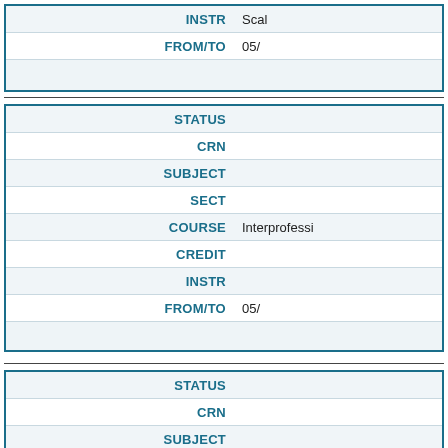| Field | Value |
| --- | --- |
| INSTR | Scal... |
| FROM/TO | 05... |
|  |  |
| Field | Value |
| --- | --- |
| STATUS |  |
| CRN |  |
| SUBJECT |  |
| SECT |  |
| COURSE | Interprofessi... |
| CREDIT |  |
| INSTR |  |
| FROM/TO | 05... |
|  |  |
| Field | Value |
| --- | --- |
| STATUS |  |
| CRN |  |
| SUBJECT |  |
| SECT |  |
| COURSE | Cli... |